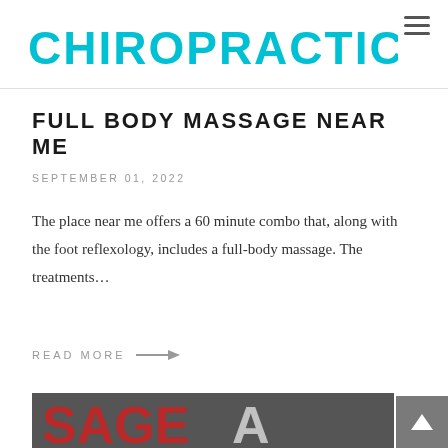CHIROPRACTIC FOR LIFE
FULL BODY MASSAGE NEAR ME
SEPTEMBER 01, 2022
The place near me offers a 60 minute combo that, along with the foot reflexology, includes a full-body massage. The treatments…
READ MORE →
[Figure (photo): Partial view of a sign with large red and white letters, likely spelling MASSAGE, seen at bottom of page]